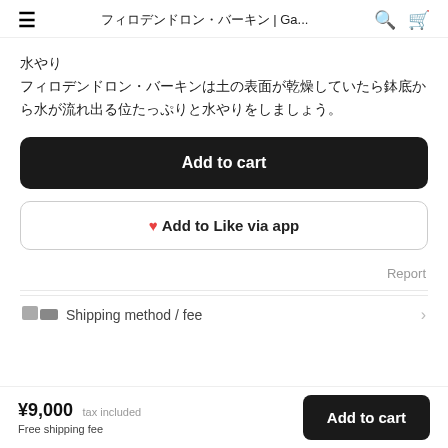フィロデンドロン・バーキン | Ga...
水やり
フィロデンドロン・バーキンは土の表面が乾燥していたら鉢底から水が流れ出る位たっぷりと水やりをしましょう。
Add to cart
♥ Add to Like via app
Report
Shipping method / fee
¥9,000 tax included
Free shipping fee
Add to cart